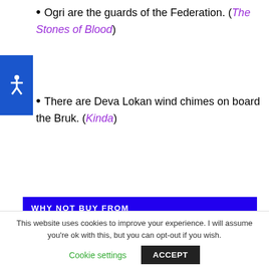Ogri are the guards of the Federation. (The Stones of Blood)
There are Deva Lokan wind chimes on board the Bruk. (Kinda)
WHY NOT BUY FROM
[Figure (logo): Amazon.co.uk logo with 'Great Selection' tagline]
[Figure (logo): Amazon.com logo with 'and you're done.' tagline and Electronics section banner in green]
This website uses cookies to improve your experience. I will assume you're ok with this, but you can opt-out if you wish.
Cookie settings   ACCEPT